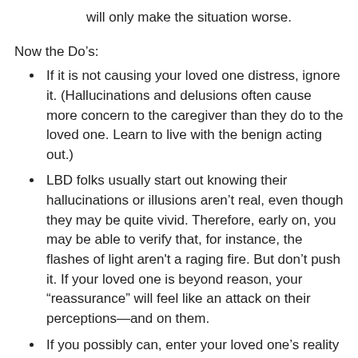will only make the situation worse.
Now the Do’s:
If it is not causing your loved one distress, ignore it. (Hallucinations and delusions often cause more concern to the caregiver than they do to the loved one. Learn to live with the benign acting out.)
LBD folks usually start out knowing their hallucinations or illusions aren’t real, even though they may be quite vivid. Therefore, early on, you may be able to verify that, for instance, the flashes of light aren't a raging fire. But don’t push it. If your loved one is beyond reason, your “reassurance” will feel like an attack on their perceptions—and on them.
If you possibly can, enter your loved one’s reality enough to distract or redirect the behavior.